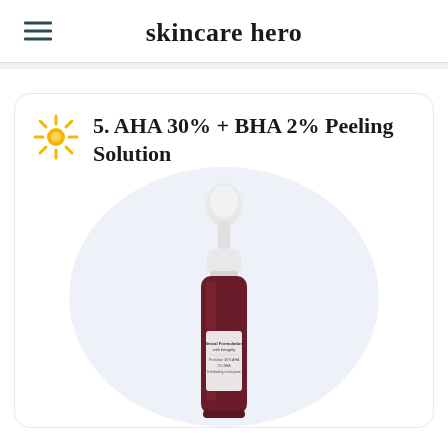skincare hero
5. AHA 30% + BHA 2% Peeling Solution
[Figure (photo): Product photo of a dark red/maroon dropper bottle with white cap on a light blue-gray circular background. The bottle label reads 'Clinical Formulations with Integrity' with additional text.]